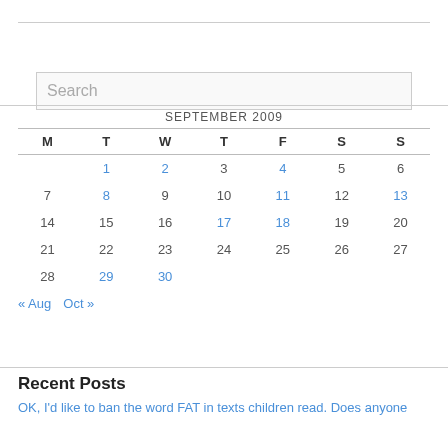[Figure (other): Search input box with placeholder text 'Search']
| M | T | W | T | F | S | S |
| --- | --- | --- | --- | --- | --- | --- |
|  | 1 | 2 | 3 | 4 | 5 | 6 |
| 7 | 8 | 9 | 10 | 11 | 12 | 13 |
| 14 | 15 | 16 | 17 | 18 | 19 | 20 |
| 21 | 22 | 23 | 24 | 25 | 26 | 27 |
| 28 | 29 | 30 |  |  |  |  |
« Aug   Oct »
Recent Posts
OK, I'd like to ban the word FAT in texts children read. Does anyone